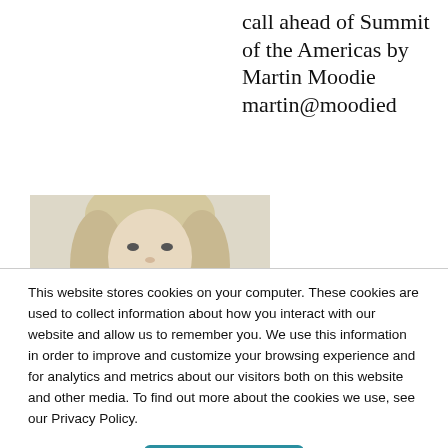call ahead of Summit of the Americas by Martin Moodie martin@moodied
[Figure (photo): Black and white portrait photo of a smiling blonde woman]
This website stores cookies on your computer. These cookies are used to collect information about how you interact with our website and allow us to remember you. We use this information in order to improve and customize your browsing experience and for analytics and metrics about our visitors both on this website and other media. To find out more about the cookies we use, see our Privacy Policy.